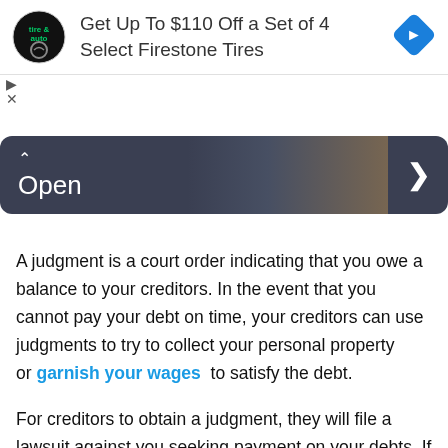[Figure (screenshot): Advertisement banner: Firestone tire and auto logo, text 'Get Up To $110 Off a Set of 4 Select Firestone Tires', blue diamond navigation icon on the right]
[Figure (screenshot): Dark navy rounded banner with caret up icon, 'Open' label in white text on left, right arrow chevron on right, with dark photo overlay in background]
A judgment is a court order indicating that you owe a balance to your creditors. In the event that you cannot pay your debt on time, your creditors can use judgments to try to collect your personal property or garnish your wages to satisfy the debt.
For creditors to obtain a judgment, they will file a lawsuit against you seeking payment on your debts. If you dont respond, your creditors win by default and will have the go signal to do things such as collect your property, garnish your wages , seize your bank accounts, or place a